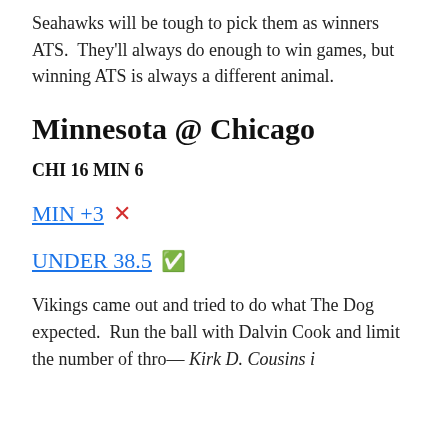Seahawks will be tough to pick them as winners ATS. They'll always do enough to win games, but winning ATS is always a different animal.
Minnesota @ Chicago
CHI 16 MIN 6
MIN +3 ✗
UNDER 38.5 ✅
Vikings came out and tried to do what The Dog expected. Run the ball with Dalvin Cook and limit the number of throws Kirk D. Cousins...